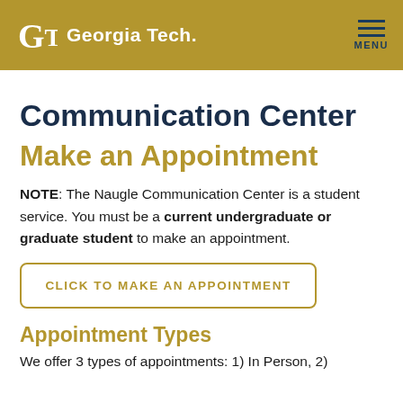Georgia Tech — MENU
Communication Center
Make an Appointment
NOTE: The Naugle Communication Center is a student service. You must be a current undergraduate or graduate student to make an appointment.
CLICK TO MAKE AN APPOINTMENT
Appointment Types
We offer 3 types of appointments: 1) In Person, 2)